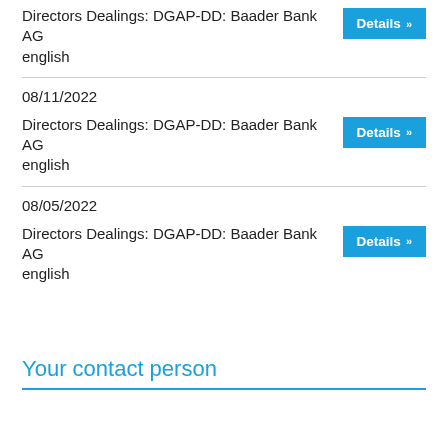Directors Dealings: DGAP-DD: Baader Bank AG english
08/11/2022
Directors Dealings: DGAP-DD: Baader Bank AG english
08/05/2022
Directors Dealings: DGAP-DD: Baader Bank AG english
Your contact person